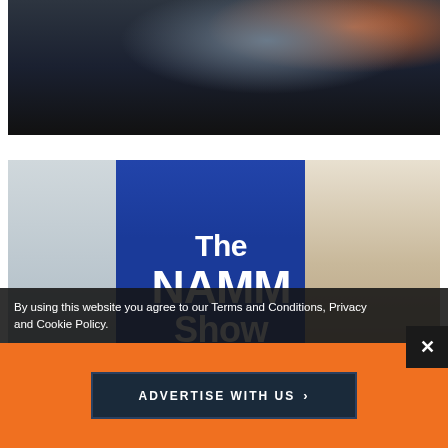[Figure (photo): Overhead/angled dark photo of a studio or tech desk setup with monitors, tablets, cables, and equipment. A person's legs visible. Orange/blue elements in background.]
[Figure (photo): Photo of a large blue banner/curtain reading 'The NAMM Show' in white bold text, hung in a convention center or exhibition hall interior.]
By using this website you agree to our Terms and Conditions, Privacy and Cookie Policy.
ADVERTISE WITH US >
[Figure (other): Close X dismiss button (dark square with white X) in bottom-right corner.]